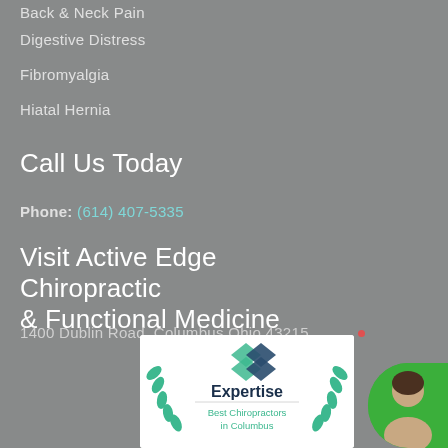Back & Neck Pain
Digestive Distress
Fibromyalgia
Hiatal Hernia
Call Us Today
Phone: (614) 407-5335
Visit Active Edge Chiropractic & Functional Medicine
1400 Dublin Road, Columbus Ohio 43215
[Figure (logo): Expertise badge - Best Chiropractors in Columbus, with teal diamond logo and laurel wreath]